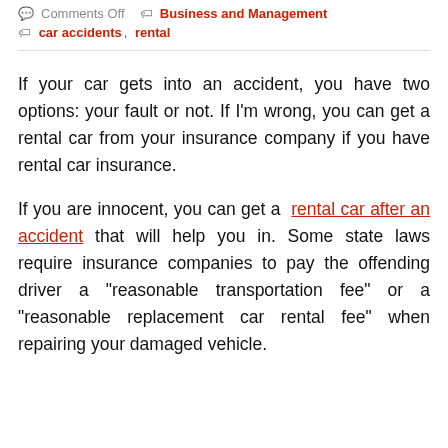Comments Off   Business and Management
car accidents, rental
If your car gets into an accident, you have two options: your fault or not. If I'm wrong, you can get a rental car from your insurance company if you have rental car insurance.
If you are innocent, you can get a rental car after an accident that will help you in. Some state laws require insurance companies to pay the offending driver a "reasonable transportation fee" or a "reasonable replacement car rental fee" when repairing your damaged vehicle.